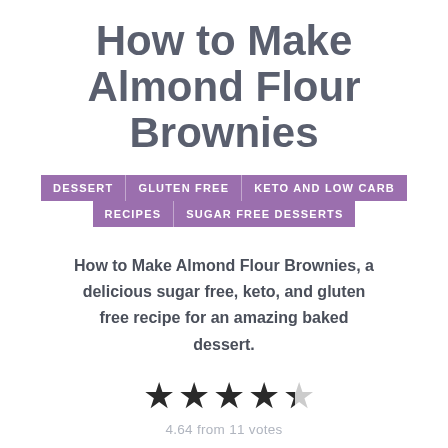How to Make Almond Flour Brownies
DESSERT | GLUTEN FREE | KETO AND LOW CARB RECIPES | SUGAR FREE DESSERTS
How to Make Almond Flour Brownies, a delicious sugar free, keto, and gluten free recipe for an amazing baked dessert.
4.64 from 11 votes